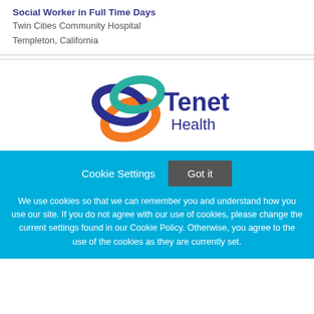Social Worker in Full Time Days
Twin Cities Community Hospital
Templeton, California
[Figure (logo): Tenet Health logo with three interlocking rings (teal, dark blue, orange) and 'Tenet Health' text in dark blue]
Cookie Settings  Got it

We use cookies so that we can remember you and understand how you use our site. If you do not agree with our use of cookies, please change the current settings found in our Cookie Policy. Otherwise, you agree to the use of the cookies as they are currently set.